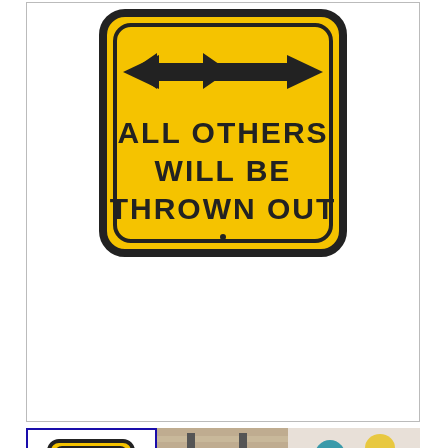[Figure (photo): Close-up of a yellow square parking sign with double-headed arrow and text 'ALL OTHERS WILL BE THROWN OUT' in bold black letters on yellow background with black border]
[Figure (photo): Three thumbnail images of a Pittsburgh Pirates parking sign product: left thumbnail shows the sign alone (selected, blue border), middle shows sign mounted outside a house entrance, right shows a couple holding the sign]
Pittsburgh Pirates - ALL OTHER FANS THROWN OUT - Embossed Steel Parking Sign